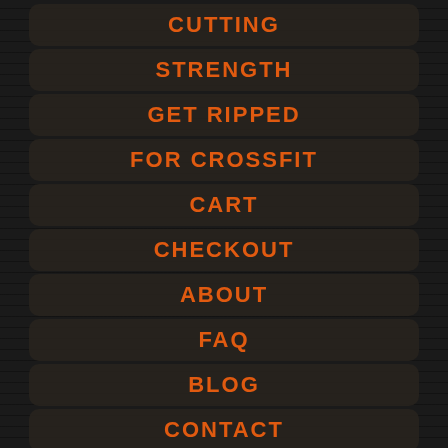CUTTING
STRENGTH
GET RIPPED
FOR CROSSFIT
CART
CHECKOUT
ABOUT
FAQ
BLOG
CONTACT